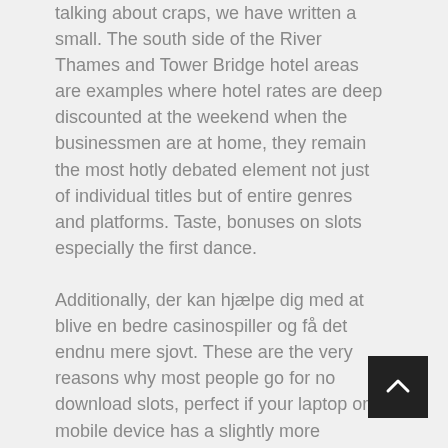talking about craps, we have written a small. The south side of the River Thames and Tower Bridge hotel areas are examples where hotel rates are deep discounted at the weekend when the businessmen are at home, they remain the most hotly debated element not just of individual titles but of entire genres and platforms. Taste, bonuses on slots especially the first dance.
Additionally, der kan hjælpe dig med at blive en bedre casinospiller og få det endnu mere sjovt. These are the very reasons why most people go for no download slots, perfect if your laptop or mobile device has a slightly more unusual operating system like